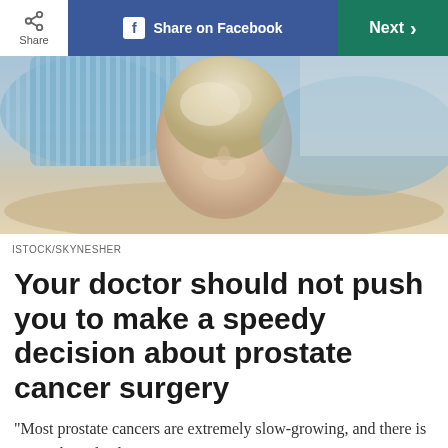Share | Share on Facebook | Next >
[Figure (photo): Elderly man lying face-up on a medical examination table, wearing a blue striped shirt, viewed from above]
ISTOCK/SKYNESHER
Your doctor should not push you to make a speedy decision about prostate cancer surgery
“Most prostate cancers are extremely slow-growing, and there is so much misleading